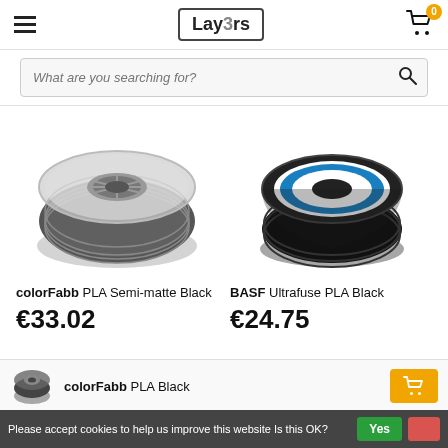[Figure (screenshot): Lay3rs e-commerce website header with hamburger menu, logo, and shopping cart icon with badge showing 0]
[Figure (screenshot): Search bar with placeholder text 'What are you searching for?' and search icon]
[Figure (photo): colorFabb PLA Semi-matte Black filament spool - dark grey/charcoal colored filament on a transparent spool]
[Figure (photo): BASF Ultrafuse PLA Black filament spool - black filament on a black spool with blue/white label]
colorFabb PLA Semi-matte Black
€33.02
BASF Ultrafuse PLA Black
€24.75
colorFabb PLA Black
Please accept cookies to help us improve this website Is this OK?